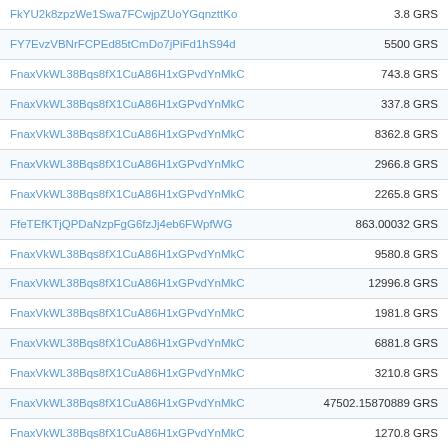| Address | Amount |
| --- | --- |
| FkYU2k8zpzWe1Swa7FCwjpZUoYGqnzttKo | 3.8 GRS |
| FY7EvzVBNrFCPEd85tCmDo7jPiFd1hS94d | 5500 GRS |
| FnaxVkWL38Bqs8fX1CuA86H1xGPvdYnMkC | 743.8 GRS |
| FnaxVkWL38Bqs8fX1CuA86H1xGPvdYnMkC | 337.8 GRS |
| FnaxVkWL38Bqs8fX1CuA86H1xGPvdYnMkC | 8362.8 GRS |
| FnaxVkWL38Bqs8fX1CuA86H1xGPvdYnMkC | 2966.8 GRS |
| FnaxVkWL38Bqs8fX1CuA86H1xGPvdYnMkC | 2265.8 GRS |
| FfeTEfKTjQPDaNzpFgG6fzJj4eb6FWpfWG | 863.00032 GRS |
| FnaxVkWL38Bqs8fX1CuA86H1xGPvdYnMkC | 9580.8 GRS |
| FnaxVkWL38Bqs8fX1CuA86H1xGPvdYnMkC | 12996.8 GRS |
| FnaxVkWL38Bqs8fX1CuA86H1xGPvdYnMkC | 1981.8 GRS |
| FnaxVkWL38Bqs8fX1CuA86H1xGPvdYnMkC | 6881.8 GRS |
| FnaxVkWL38Bqs8fX1CuA86H1xGPvdYnMkC | 3210.8 GRS |
| FnaxVkWL38Bqs8fX1CuA86H1xGPvdYnMkC | 47502.15870889 GRS |
| FnaxVkWL38Bqs8fX1CuA86H1xGPvdYnMkC | 1270.8 GRS |